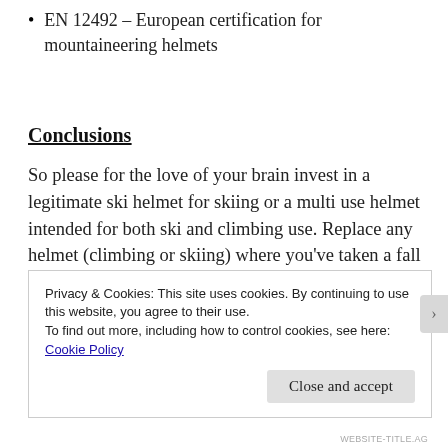EN 12492 – European certification for mountaineering helmets
Conclusions
So please for the love of your brain invest in a legitimate ski helmet for skiing or a multi use helmet intended for both ski and climbing use. Replace any helmet (climbing or skiing) where you've taken a fall or blow where you feel that without your helmet you would have been seriously injured. If there's any damage to any of your helmets replace before you get back after it.
Privacy & Cookies: This site uses cookies. By continuing to use this website, you agree to their use.
To find out more, including how to control cookies, see here:
Cookie Policy
Close and accept